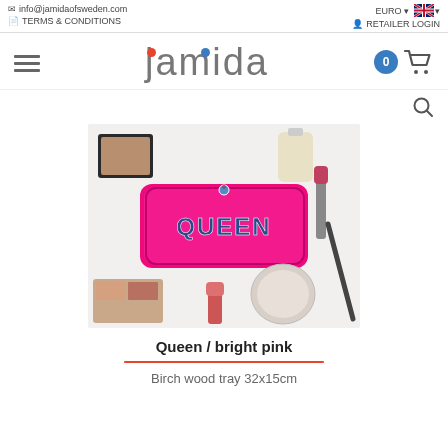info@jamidaofsweden.com | TERMS & CONDITIONS | EURO | RETAILER LOGIN
[Figure (logo): Jamida brand logo with red and blue dots above letters j and i, grey sans-serif text]
[Figure (photo): Product photo: bright pink rectangular birch wood tray spelling QUEEN in blue glitter letters, surrounded by makeup items on white background]
Queen / bright pink
Birch wood tray 32x15cm